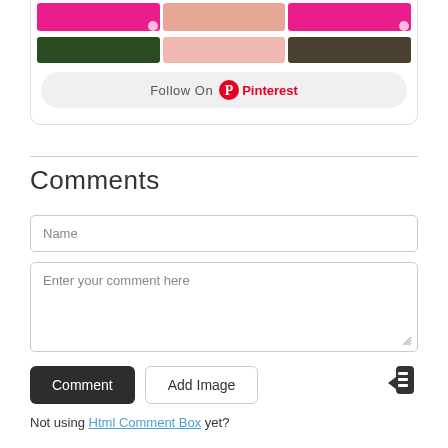[Figure (screenshot): Pinterest widget with photo thumbnails and Follow On Pinterest button]
Comments
Name (input field placeholder)
Enter your comment here (textarea placeholder)
Comment button, Add Image button, login icon
Not using Html Comment Box yet?